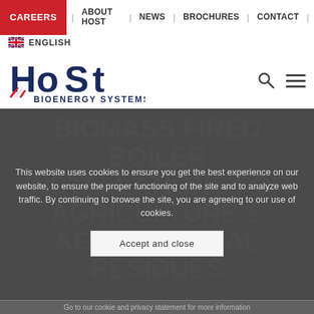CAREERS | ABOUT HOST | NEWS | BROCHURES | CONTACT |
ENGLISH
[Figure (logo): HoSt Bioenergy Systems logo with search and menu icons]
[Figure (photo): Hero image area with dark background]
BIOMASS FIRED BOILER INSTALLATIONS FOR AGRICULTURE & AGRICULTURAL RESIDUES
This website uses cookies to ensure you get the best experience on our website, to ensure the proper functioning of the site and to analyze web traffic. By continuing to browse the site, you are agreeing to our use of cookies.
Accept and close
Go to our cookie and privacy statement for more information